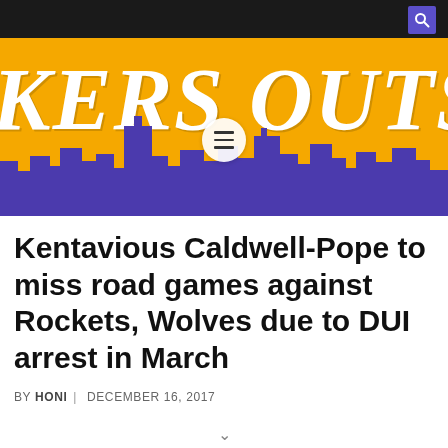[Figure (logo): Lakers Outside the Lines website banner with gold background, purple city skyline silhouette, white italic serif text reading 'KERS OUTSIDE' (partially cropped), hamburger menu icon, and search icon in purple box on black top bar]
Kentavious Caldwell-Pope to miss road games against Rockets, Wolves due to DUI arrest in March
BY HONI  |  DECEMBER 16, 2017